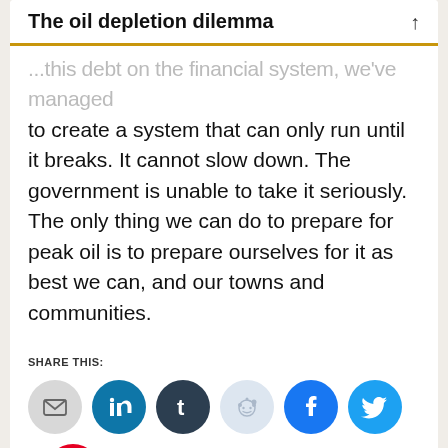The oil depletion dilemma
...this debt on the financial system, we've managed to create a system that can only run until it breaks. It cannot slow down. The government is unable to take it seriously. The only thing we can do to prepare for peak oil is to prepare ourselves for it as best we can, and our towns and communities.
SHARE THIS:
[Figure (other): Social share buttons: Email, LinkedIn, Tumblr, Reddit, Facebook, Twitter, Pinterest]